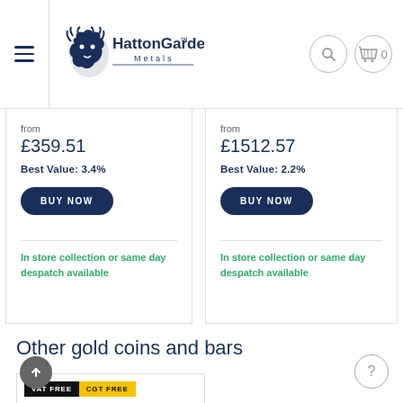HattonGarden Metals
from
£359.51
Best Value: 3.4%
BUY NOW
In store collection or same day despatch available
from
£1512.57
Best Value: 2.2%
BUY NOW
In store collection or same day despatch available
Other gold coins and bars
[Figure (screenshot): Product card with VAT FREE and CGT FREE badges and a gold coin image]